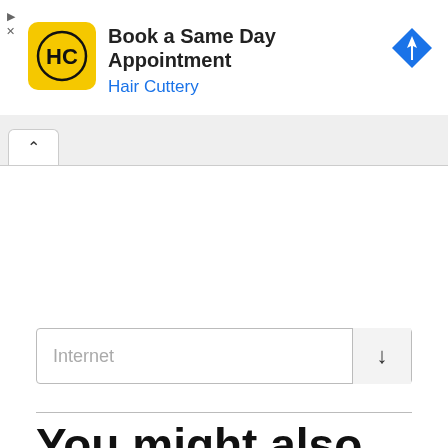[Figure (screenshot): Hair Cuttery advertisement banner with yellow logo, text 'Book a Same Day Appointment' and 'Hair Cuttery' in blue, and a blue navigation/directions diamond icon on the right.]
[Figure (screenshot): Browser tab bar with a caret/up-arrow tab button on the left and empty space to the right.]
Internet
You might also